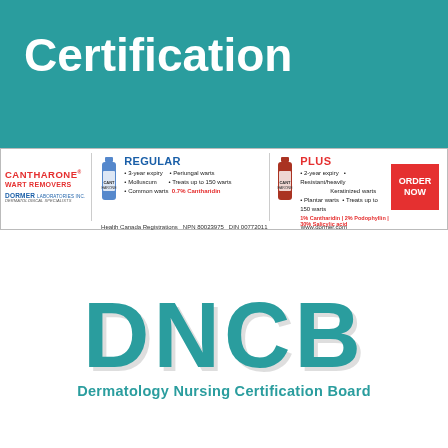Certification
[Figure (infographic): Cantharone Wart Removers advertisement banner by Dormer Laboratories Inc. Shows Regular (3-year expiry, Molluscum, Common warts, Periungal warts, Treats up to 150 warts, 0.7% Cantharidin) and Plus (2-year expiry, Plantar warts, Resistant/heavily Keratinized warts, Treats up to 150 warts, 1% Cantharidin | 2% Podophyllin | 30% Salicylic acid) products with ORDER NOW button. Health Canada Registrations NPN 80023975 DIN 00772011. www.dormer.com]
[Figure (logo): DNCB logo - Dermatology Nursing Certification Board. Large teal letters DNCB with subtitle text.]